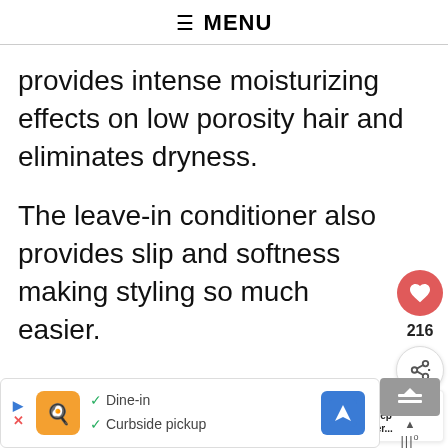≡ MENU
provides intense moisturizing effects on low porosity hair and eliminates dryness.
The leave-in conditioner also provides slip and softness making styling so much easier.
216
WHAT'S NEXT → 19 Best Deep Conditioner...
✓ Dine-in ✓ Curbside pickup